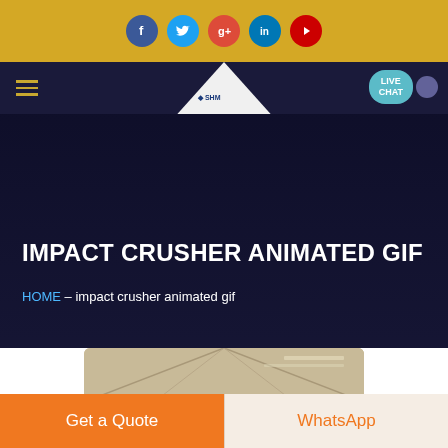Social media icons bar (Facebook, Twitter, Google+, LinkedIn, YouTube)
[Figure (screenshot): Navigation bar with hamburger menu, SHM logo triangle, and LIVE CHAT button]
IMPACT CRUSHER ANIMATED GIF
HOME – impact crusher animated gif
[Figure (photo): Partial view of an industrial building interior with steel roof trusses]
Get a Quote
WhatsApp